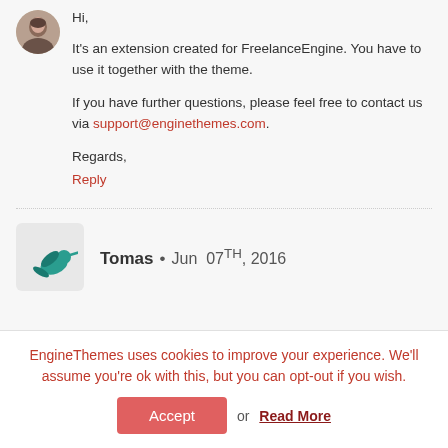[Figure (photo): Small circular avatar photo of a person (appears to be a woman with dark hair)]
Hi,

It's an extension created for FreelanceEngine. You have to use it together with the theme.

If you have further questions, please feel free to contact us via support@enginethemes.com.

Regards,
Reply
[Figure (logo): Teal/turquoise hummingbird logo icon]
Tomas • Jun 07TH, 2016
EngineThemes uses cookies to improve your experience. We'll assume you're ok with this, but you can opt-out if you wish.
Accept or Read More